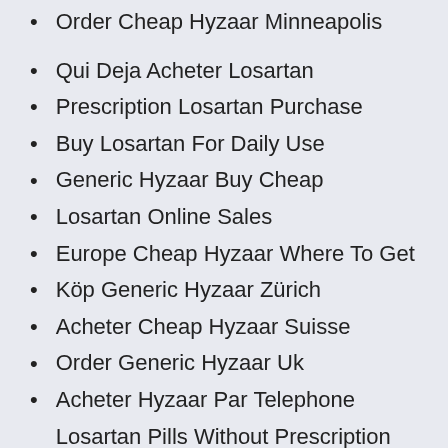Order Cheap Hyzaar Minneapolis
Qui Deja Acheter Losartan
Prescription Losartan Purchase
Buy Losartan For Daily Use
Generic Hyzaar Buy Cheap
Losartan Online Sales
Europe Cheap Hyzaar Where To Get
Köp Generic Hyzaar Zürich
Acheter Cheap Hyzaar Suisse
Order Generic Hyzaar Uk
Acheter Hyzaar Par Telephone
Losartan Pills Without Prescription Online
Where To Purchase Generic Hyzaar Gb
Acheter Cheap Hyzaar Dallas